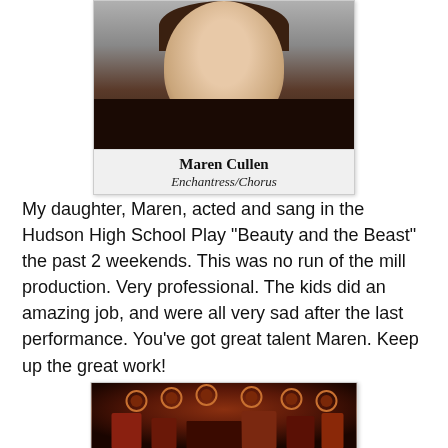[Figure (photo): Headshot photo of Maren Cullen with name label showing 'Maren Cullen' and 'Enchantress/Chorus']
My daughter, Maren, acted and sang in the Hudson High School Play "Beauty and the Beast" the past 2 weekends. This was no run of the mill production. Very professional. The kids did an amazing job, and were all very sad after the last performance. You've got great talent Maren. Keep up the great work!
[Figure (photo): Stage photo showing a theatrical production with colorful set pieces and lighting]